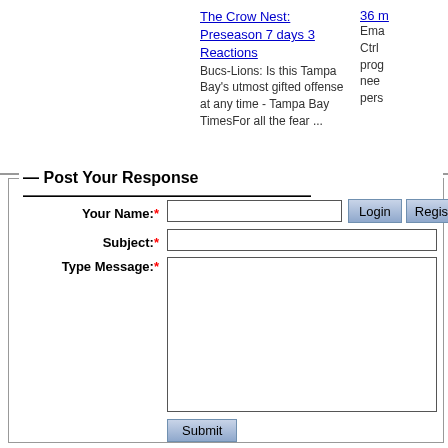The Crow Nest: Preseason 7 days 3 Reactions
Bucs-Lions: Is this Tampa Bay's utmost gifted offense at any time - Tampa Bay TimesFor all the fear ...
36 m
Ema
Ctrl
prog
nee
pers
Post Your Response
Your Name:*
Subject:*
Type Message:*
Submit